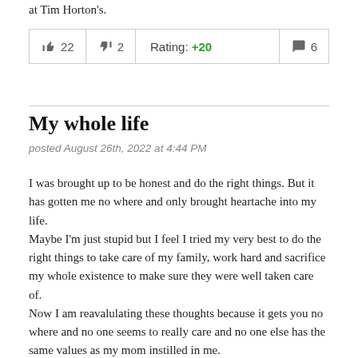at Tim Horton's.
| 👍 22 | 👎 2 | Rating: +20 | 💬 6 |
| --- | --- | --- | --- |
My whole life
posted August 26th, 2022 at 4:44 PM
I was brought up to be honest and do the right things. But it has gotten me no where and only brought heartache into my life.
Maybe I'm just stupid but I feel I tried my very best to do the right things to take care of my family, work hard and sacrifice my whole existence to make sure they were well taken care of.
Now I am reavalulating these thoughts because it gets you no where and no one seems to really care and no one else has the same values as my mom instilled in me.
Damn it's a sad ass world we live in.
Some lady can hang outside with her baby smoking pot and partying til 1am in the morning and no says anything about it yet I'm being set up to be some horrible person cause I complain about wrong doings and to